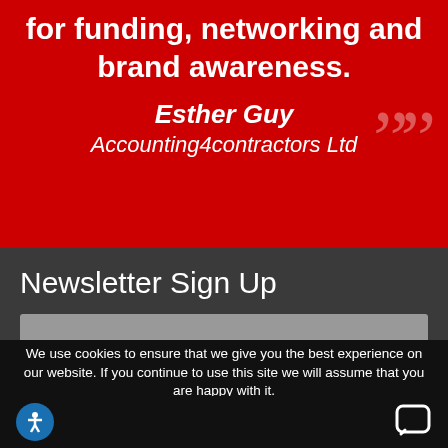for funding, networking and brand awareness.
Esther Guy
Accounting4contractors Ltd
Newsletter Sign Up
We use cookies to ensure that we give you the best experience on our website. If you continue to use this site we will assume that you are happy with it.